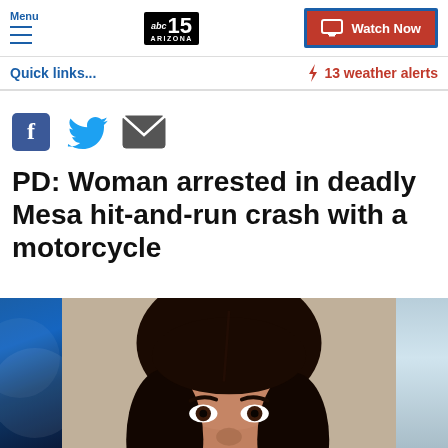Menu | abc15 ARIZONA | Watch Now
Quick links...
13 weather alerts
[Figure (screenshot): Social sharing icons: Facebook, Twitter, Email]
PD: Woman arrested in deadly Mesa hit-and-run crash with a motorcycle
[Figure (photo): Photo of a woman, mugshot style, with dark hair, against a gray background. Left side shows blue graphic panel, right side shows a partial light blue image.]